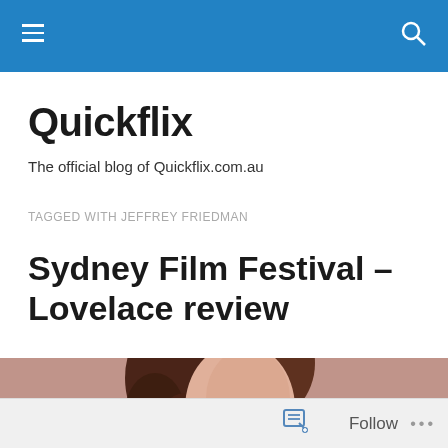Quickflix blog navigation bar
Quickflix
The official blog of Quickflix.com.au
TAGGED WITH JEFFREY FRIEDMAN
Sydney Film Festival – Lovelace review
[Figure (photo): Portrait photo of a woman with curly brown hair, looking over her shoulder]
Follow